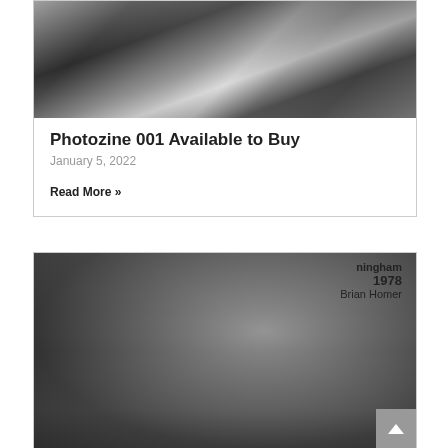[Figure (photo): Black and white photograph of what appears to be photo books or zines laid on a surface, grayscale tones]
Photozine 001 Available to Buy
January 5, 2022
Read More »
[Figure (photo): Black and white photograph of an open photo book showing people standing in a doorway/entrance. The book cover shows text: 'ningham 1978 Brian Homer']